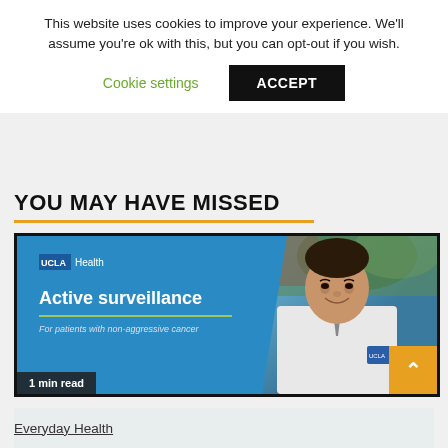This website uses cookies to improve your experience. We'll assume you're ok with this, but you can opt-out if you wish.
Cookie settings   ACCEPT
YOU MAY HAVE MISSED
[Figure (photo): UCLA Health video thumbnail showing 'Active surveillance For patients with non-aggressive cancer' with a doctor in a white coat on the right side. Badge reads '1 min read'.]
Everyday Health